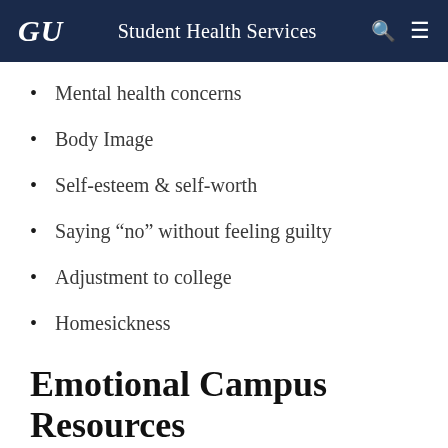GU  Student Health Services
Mental health concerns
Body Image
Self-esteem & self-worth
Saying “no” without feeling guilty
Adjustment to college
Homesickness
Emotional Campus Resources